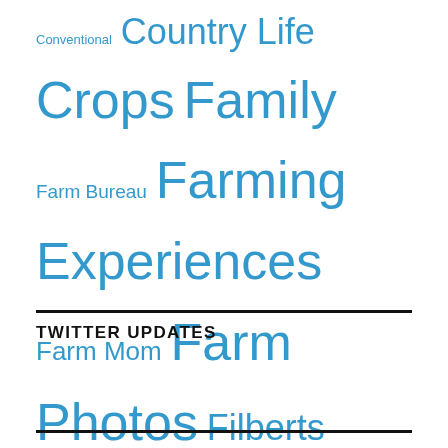[Figure (infographic): Tag cloud with blue words of varying sizes: Conventional, Country Life, Crops, Family, Farm Bureau, Farming Experiences, Farm Mom, Farm Photos, Filberts, Food, Fun, Funny, Green Beans, Harvest, Hazelnuts, Legislature, Lessons, Life, Love, Perennial Ryegrass, Uncategorized, Updates, Weather, Wheat]
TWITTER UPDATES